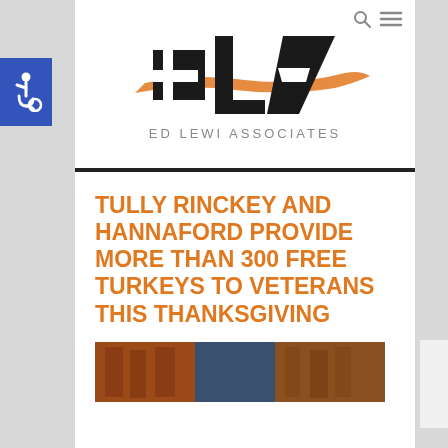[Figure (logo): Accessibility icon button - wheelchair symbol on blue background]
[Figure (logo): Ed Lewi Associates logo with ELA letters in black and orange brushstroke]
TULLY RINCKEY AND HANNAFORD PROVIDE MORE THAN 300 FREE TURKEYS TO VETERANS THIS THANKSGIVING
[Figure (photo): Partial photo of brick building exterior]